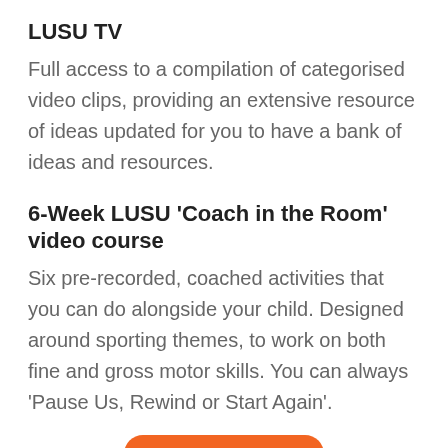LUSU TV
Full access to a compilation of categorised video clips, providing an extensive resource of ideas updated for you to have a bank of ideas and resources.
6-Week LUSU ‘Coach in the Room’ video course
Six pre-recorded, coached activities that you can do alongside your child. Designed around sporting themes, to work on both fine and gross motor skills. You can always ‘Pause Us, Rewind or Start Again’.
[Figure (other): Orange rounded rectangle button at the bottom of the page]